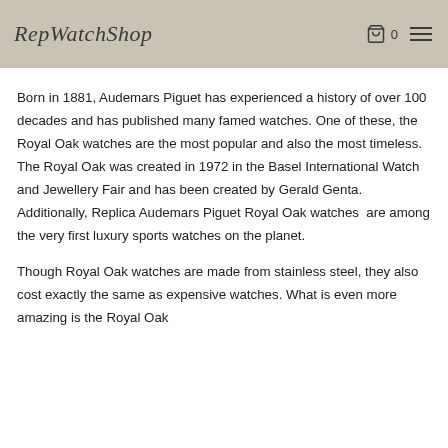RepWatchShop  0 ☰
Born in 1881, Audemars Piguet has experienced a history of over 100 decades and has published many famed watches. One of these, the Royal Oak watches are the most popular and also the most timeless. The Royal Oak was created in 1972 in the Basel International Watch and Jewellery Fair and has been created by Gerald Genta. Additionally, Replica Audemars Piguet Royal Oak watches  are among the very first luxury sports watches on the planet.
Though Royal Oak watches are made from stainless steel, they also cost exactly the same as expensive watches. What is even more amazing is the Royal Oak